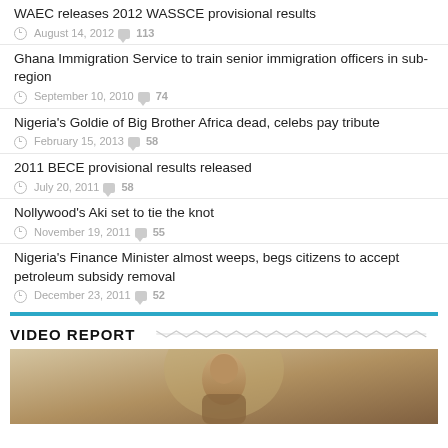WAEC releases 2012 WASSCE provisional results — August 14, 2012 — 113 comments
Ghana Immigration Service to train senior immigration officers in sub-region — September 10, 2010 — 74 comments
Nigeria's Goldie of Big Brother Africa dead, celebs pay tribute — February 15, 2013 — 58 comments
2011 BECE provisional results released — July 20, 2011 — 58 comments
Nollywood's Aki set to tie the knot — November 19, 2011 — 55 comments
Nigeria's Finance Minister almost weeps, begs citizens to accept petroleum subsidy removal — December 23, 2011 — 52 comments
VIDEO REPORT
[Figure (photo): Thumbnail image for video report section showing a person, warm brown tones]